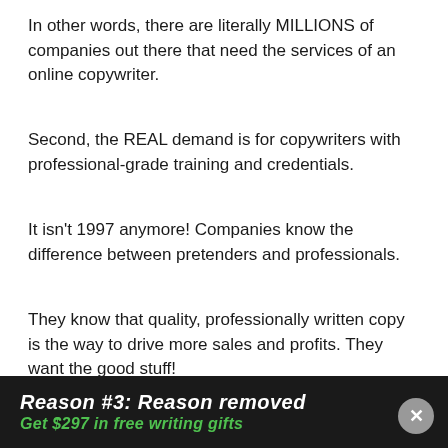In other words, there are literally MILLIONS of companies out there that need the services of an online copywriter.
Second, the REAL demand is for copywriters with professional-grade training and credentials.
It isn't 1997 anymore! Companies know the difference between pretenders and professionals.
They know that quality, professionally written copy is the way to drive more sales and profits. They want the good stuff!
Reason #3: Reason removed... Get $297 in free writing gifts